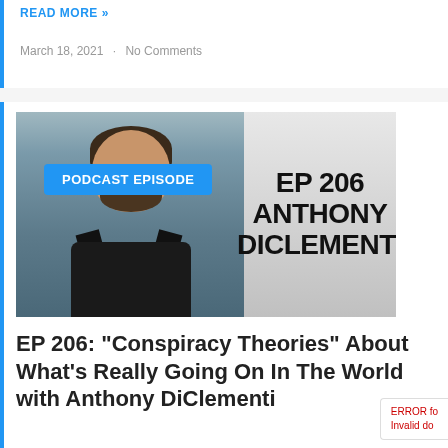READ MORE »
March 18, 2021  ·  No Comments
[Figure (photo): Podcast episode thumbnail showing a man in a black Under Armour shirt with text 'PODCAST EPISODE' badge overlay and right panel reading 'EP 206 ANTHONY DICLEMENTI' on gray gradient background]
EP 206: “Conspiracy Theories” About What’s Really Going On In The World with Anthony DiClementi